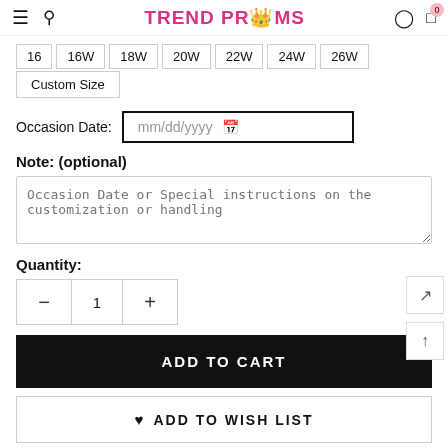TREND PROMS
16 | 16W | 18W | 20W | 22W | 24W | 26W
Custom Size
Occasion Date: mm/dd/yyyy
Note: (optional)
Occasion Date or Special instructions on the customization or handling
Quantity:
1
ADD TO CART
ADD TO WISH LIST